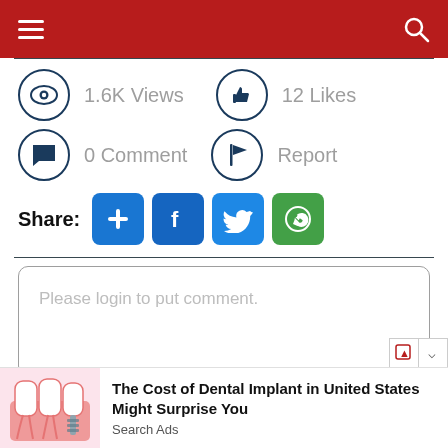Navigation header with hamburger menu and search icon
1.6K Views  12 Likes  0 Comment  Report
Share:
Please login to put comment.
[Figure (screenshot): Advertisement banner: dental implant illustration with text 'The Cost of Dental Implant in United States Might Surprise You' and 'Search Ads']